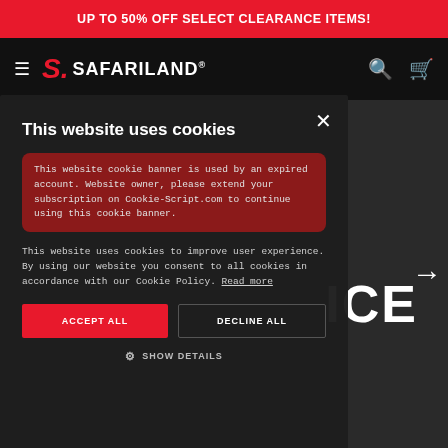UP TO 50% OFF SELECT CLEARANCE ITEMS!
[Figure (screenshot): Safariland website navigation bar with hamburger menu, Safariland logo, search icon, and cart icon on dark background]
[Figure (screenshot): Cookie consent modal dialog on Safariland website showing expired account banner warning, cookie usage description, and Accept All / Decline All buttons]
This website uses cookies
This website cookie banner is used by an expired account. Website owner, please extend your subscription on Cookie-Script.com to continue using this cookie banner.
This website uses cookies to improve user experience. By using our website you consent to all cookies in accordance with our Cookie Policy. Read more
ACCEPT ALL
DECLINE ALL
SHOW DETAILS